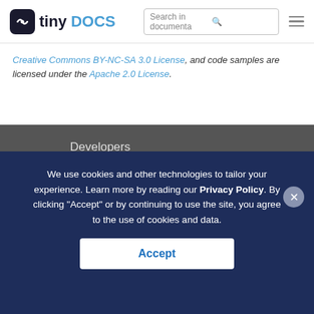tiny DOCS — Search in documentation
Creative Commons BY-NC-SA 3.0 License, and code samples are licensed under the Apache 2.0 License.
Developers
Documentation
Mobile
Download
Changelog
We use cookies and other technologies to tailor your experience. Learn more by reading our Privacy Policy. By clicking "Accept" or by continuing to use the site, you agree to the use of cookies and data.
Accept